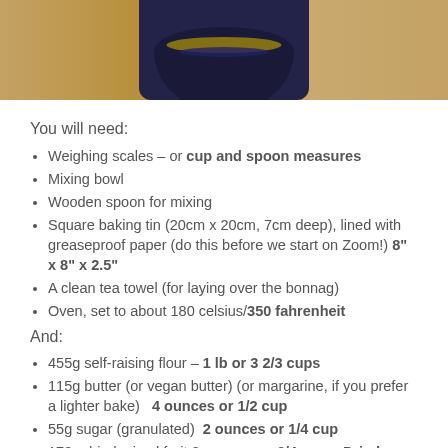[Figure (photo): Photo showing a blue ceramic bowl or pot sitting on a wooden surface, viewed from above/side angle]
You will need:
Weighing scales – or cup and spoon measures
Mixing bowl
Wooden spoon for mixing
Square baking tin (20cm x 20cm, 7cm deep), lined with greaseproof paper (do this before we start on Zoom!) 8" x 8" x 2.5"
A clean tea towel (for laying over the bonnag)
Oven, set to about 180 celsius/350 fahrenheit
And:
455g self-raising flour – 1 lb or 3 2/3 cups
115g butter (or vegan butter) (or margarine, if you prefer a lighter bake)   4 ounces or 1/2 cup
55g sugar (granulated)  2 ounces or 1/4 cup
170g dried mixed fruit  6 ounces or 3/4 cup – Dried